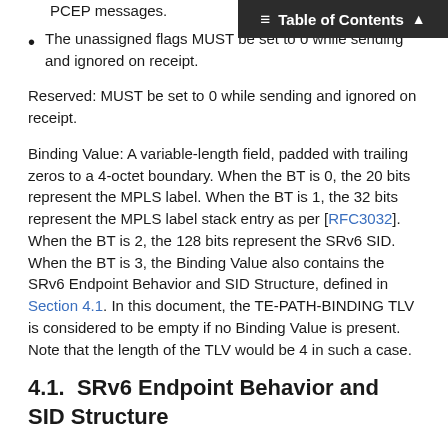Table of Contents
the PCRpt and PCUpd messages... PCEP messages.
The unassigned flags MUST be set to 0 while sending and ignored on receipt.
Reserved: MUST be set to 0 while sending and ignored on receipt.
Binding Value: A variable-length field, padded with trailing zeros to a 4-octet boundary. When the BT is 0, the 20 bits represent the MPLS label. When the BT is 1, the 32 bits represent the MPLS label stack entry as per [RFC3032]. When the BT is 2, the 128 bits represent the SRv6 SID. When the BT is 3, the Binding Value also contains the SRv6 Endpoint Behavior and SID Structure, defined in Section 4.1. In this document, the TE-PATH-BINDING TLV is considered to be empty if no Binding Value is present. Note that the length of the TLV would be 4 in such a case.
4.1.  SRv6 Endpoint Behavior and SID Structure